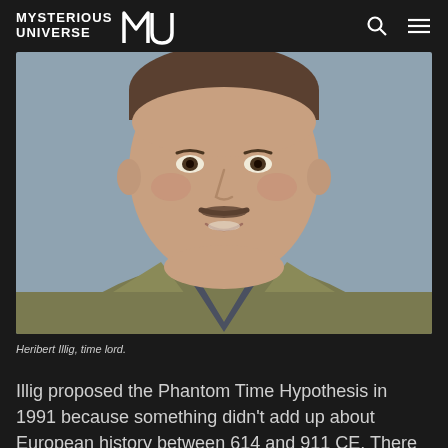MYSTERIOUS UNIVERSE MU
[Figure (photo): Portrait photo of Heribert Illig, a middle-aged man with a mustache wearing a gray shirt and olive/khaki blazer, smiling, against a light blue-gray background.]
Heribert Illig, time lord.
Illig proposed the Phantom Time Hypothesis in 1991 because something didn't add up about European history between 614 and 911 CE. There